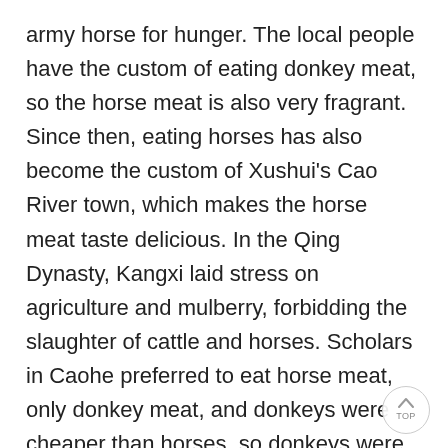army horse for hunger. The local people have the custom of eating donkey meat, so the horse meat is also very fragrant. Since then, eating horses has also become the custom of Xushui's Cao River town, which makes the horse meat taste delicious. In the Qing Dynasty, Kangxi laid stress on agriculture and mulberry, forbidding the slaughter of cattle and horses. Scholars in Caohe preferred to eat horse meat, only donkey meat, and donkeys were cheaper than horses, so donkeys were specially bred for food. Then there is the local branded fire outside the coke tender, just out of the oven with cooked donkey meat, has become a well-known local food.
Donkey meat is very rich in nutrition. Every 100 grams of donkey meat contains 27 grams of protein. Its protein content is higher than that of beef and pork, but its fat